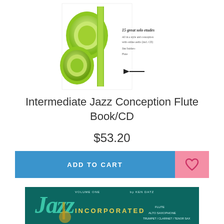[Figure (photo): Book cover for Intermediate Jazz Conception Flute Book/CD — white background with green flute keys graphic and small text on right side with publisher logo]
Intermediate Jazz Conception Flute Book/CD
$53.20
ADD TO CART
[Figure (photo): Book cover for Jazz Incorporated Volume One by Ken Datz — teal/dark background with large stylized Jazz text, saxophone, and instrument listings including Flute, Alto Saxophone, Trumpet/Clarinet/Tenor Sax]